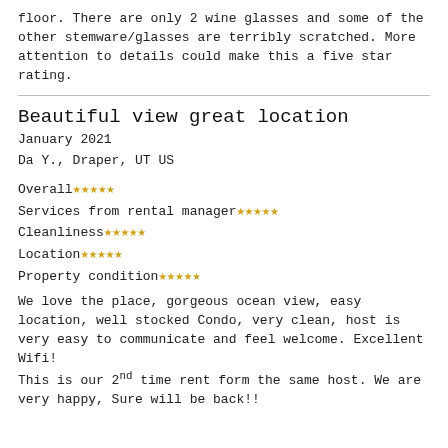floor. There are only 2 wine glasses and some of the other stemware/glasses are terribly scratched. More attention to details could make this a five star rating.
Beautiful view great location
January 2021
Da Y., Draper, UT US
Overall ★★★★☆
Services from rental manager ★★★★☆
Cleanliness ★★★★☆
Location ★★★★☆
Property condition ★★★★☆
We love the place, gorgeous ocean view, easy location, well stocked Condo, very clean, host is very easy to communicate and feel welcome. Excellent Wifi!
This is our 2nd time rent form the same host. We are very happy, Sure will be back!!